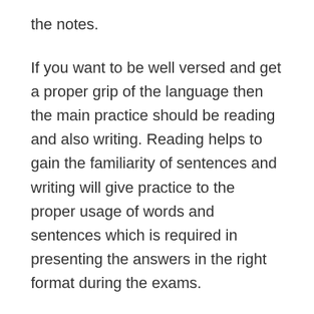the notes.
If you want to be well versed and get a proper grip of the language then the main practice should be reading and also writing. Reading helps to gain the familiarity of sentences and writing will give practice to the proper usage of words and sentences which is required in presenting the answers in the right format during the exams.
Grammar is a very significant and important element for any language. You have to understand the chapter following the rules and regulations of the usage. This will help you to present your answer well in the exam. You can refer to some good Hindi Grammar books which contain lots of